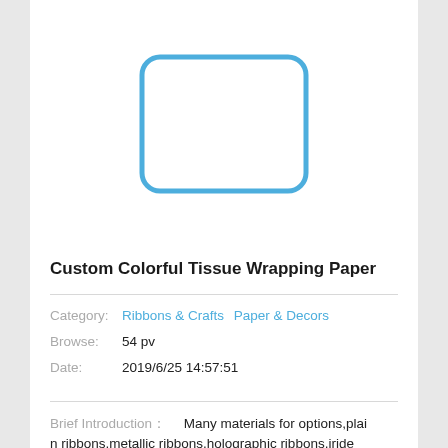[Figure (other): Placeholder image area with a rounded rectangle outline in blue on white background]
Custom Colorful Tissue Wrapping Paper
Category:  Ribbons & Crafts  Paper & Decors
Browse:  54 pv
Date:  2019/6/25 14:57:51
Brief Introduction:    Many materials for options,plain ribbons,metallic ribbons,holographic ribbons,iride...